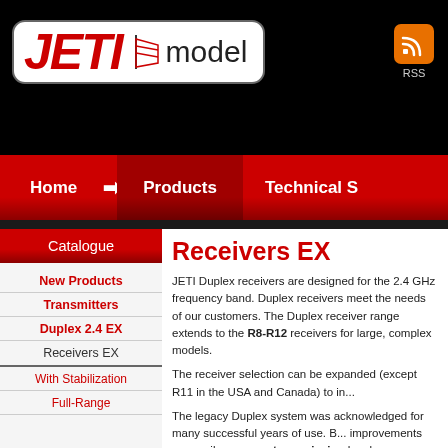[Figure (logo): JETI model logo on black background with RSS icon]
Home | Products | Technical S...
Catalogue
New Products
Transmitters
Duplex 2.4 EX
Receivers EX
With Stabilization
Full-Range
Receivers EX
JETI Duplex receivers are designed for the 2.4 GHz frequency band. Duplex receivers meet the needs of our customers. The Duplex receiver range extends to the R8-R12 receivers for large, complex models.
The receiver selection can be expanded (except R11 in the USA and Canada) to include...
The legacy Duplex system was acknowledged for many successful years of use. But now a host of improvements are easily accessible. duplex transmission has been a distinctive feature...